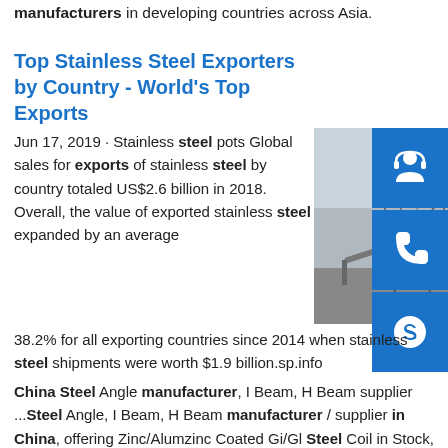manufacturers in developing countries across Asia.
Top Stainless Steel Exporters by Country - World's Top Exports
Jun 17, 2019 · Stainless steel pots Global sales for exports of stainless steel by country totaled US$2.6 billion in 2018. Overall, the value of exported stainless steel expanded by an average 38.2% for all exporting countries since 2014 when stainless steel shipments were worth $1.9 billion.sp.info
[Figure (photo): Photo of a large metal steel structure framework outdoors]
China Steel Angle manufacturer, I Beam, H Beam supplier ...Steel Angle, I Beam, H Beam manufacturer / supplier in China, offering Zinc/Alumzinc Coated Gi/Gl Steel Coil in Stock, Structural Steel Channel Size, Hot Dipped Galvanized Steel Coil with Zero Spangle and ...
sp.info China's Steel Industry is Dominating the Global